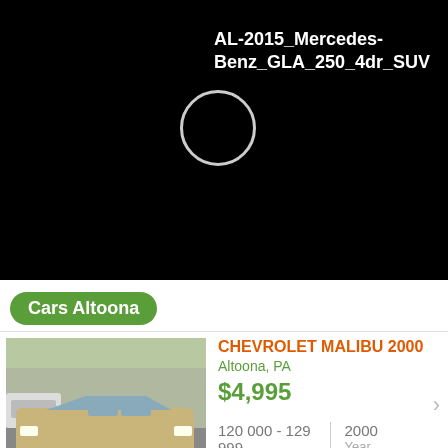[Figure (screenshot): Black header area with white bold text reading 'AL-2015_Mercedes-Benz_GLA_250_4dr_SUV' and a circular loading/icon graphic on the left]
Cars Altoona
[Figure (photo): Photo of a gold/tan Chevrolet Malibu 2000 sedan in a parking lot]
CHEVROLET MALIBU 2000
Altoona, PA
$4,995
120 000 - 129 999 Miles
2000 Year
A WELL SERVICED TRADE IN... PUCHASED HERE AND TRADED *** Text JPAM to 50123 for great car deals! *** Message and data rates may apply. Text STOP to 50123 to...
Cars Altoona
2001 Chevrolet Malibu
Altoona, PA